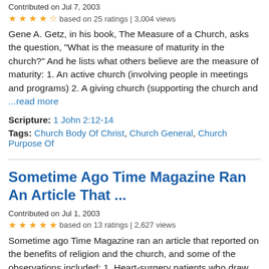Contributed on Jul 7, 2003
★★★★½ based on 25 ratings | 3,004 views
Gene A. Getz, in his book, The Measure of a Church, asks the question, "What is the measure of maturity in the church?" And he lists what others believe are the measure of maturity: 1. An active church (involving people in meetings and programs) 2. A giving church (supporting the church and ...read more
Scripture: 1 John 2:12-14
Tags: Church Body Of Christ, Church General, Church Purpose Of
Sometime Ago Time Magazine Ran An Article That ...
Contributed on Jul 1, 2003
★★★★★ based on 13 ratings | 2,627 views
Sometime ago Time Magazine ran an article that reported on the benefits of religion and the church, and some of the observations included: 1. Heart-surgery patients who draw comfort from their religious faith have a significantly higher survival rate than those who do not. 2. The blood pressure ...read more